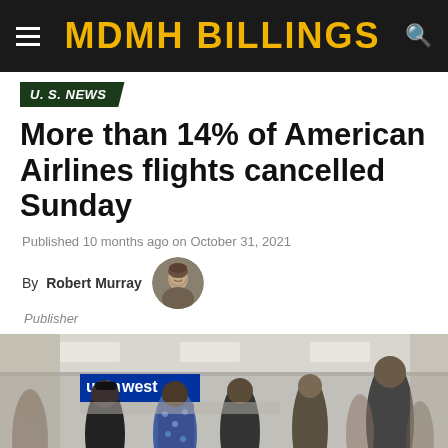MDMH BILLINGS
U. S. NEWS
More than 14% of American Airlines flights cancelled Sunday
Published 10 months ago on October 31, 2021
By Robert Murray
Publisher
[Figure (photo): People standing in a queue at an airport terminal. A Southwest Airlines sign is visible. Passengers waiting in line separated by stanchion ropes.]